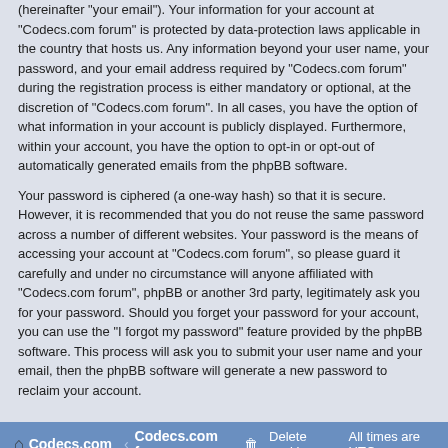(hereinafter “your email”). Your information for your account at “Codecs.com forum” is protected by data-protection laws applicable in the country that hosts us. Any information beyond your user name, your password, and your email address required by “Codecs.com forum” during the registration process is either mandatory or optional, at the discretion of “Codecs.com forum”. In all cases, you have the option of what information in your account is publicly displayed. Furthermore, within your account, you have the option to opt-in or opt-out of automatically generated emails from the phpBB software.
Your password is ciphered (a one-way hash) so that it is secure. However, it is recommended that you do not reuse the same password across a number of different websites. Your password is the means of accessing your account at “Codecs.com forum”, so please guard it carefully and under no circumstance will anyone affiliated with “Codecs.com forum”, phpBB or another 3rd party, legitimately ask you for your password. Should you forget your password for your account, you can use the “I forgot my password” feature provided by the phpBB software. This process will ask you to submit your user name and your email, then the phpBB software will generate a new password to reclaim your account.
Codecs.com ‹ Codecs.com forum    Delete cookies    All times are UTC
Powered by phpBB® Forum Software © phpBB Limited
Privacy | Terms
Time: 0.150s | Queries: 6 | Peak Memory Usage: 11.68 MiB | GZIP: Off